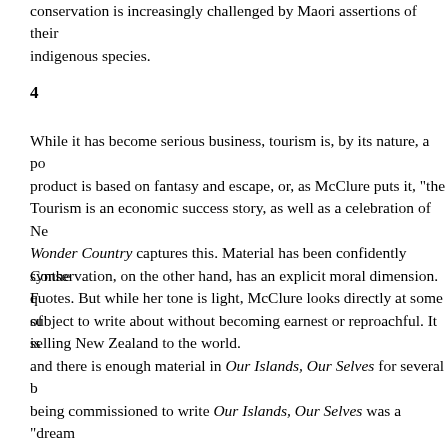conservation is increasingly challenged by Maori assertions of their indigenous species.
4
While it has become serious business, tourism is, by its nature, a po product is based on fantasy and escape, or, as McClure puts it, "the Tourism is an economic success story, as well as a celebration of Ne Wonder Country captures this. Material has been confidently synthe quotes. But while her tone is light, McClure looks directly at some of selling New Zealand to the world.
Conservation, on the other hand, has an explicit moral dimension. F subject to write about without becoming earnest or reproachful. It is and there is enough material in Our Islands, Our Selves for several b being commissioned to write Our Islands, Our Selves was a "dream commitment to conservation may have made it difficult for him to let mould it into a clear narrative. On the other hand, Young's voice cou in the nature documentary-style text, rather than at odd moments in "As a fabric, DOC was officially a blue Swanndri … but it was actuall